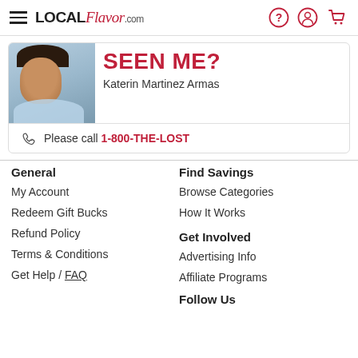LOCAL Flavor .com — navigation header with hamburger menu, question mark, account, and cart icons
[Figure (infographic): Missing person notice: photo of Katerin Martinez Armas on left, 'SEEN ME?' in large red bold text, name below, phone number 1-800-THE-LOST]
General
My Account
Redeem Gift Bucks
Refund Policy
Terms & Conditions
Get Help / FAQ
Find Savings
Browse Categories
How It Works
Get Involved
Advertising Info
Affiliate Programs
Follow Us